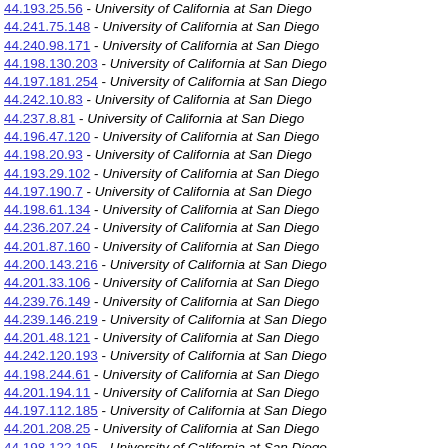44.193.25.56 - University of California at San Diego
44.241.75.148 - University of California at San Diego
44.240.98.171 - University of California at San Diego
44.198.130.203 - University of California at San Diego
44.197.181.254 - University of California at San Diego
44.242.10.83 - University of California at San Diego
44.237.8.81 - University of California at San Diego
44.196.47.120 - University of California at San Diego
44.198.20.93 - University of California at San Diego
44.193.29.102 - University of California at San Diego
44.197.190.7 - University of California at San Diego
44.198.61.134 - University of California at San Diego
44.236.207.24 - University of California at San Diego
44.201.87.160 - University of California at San Diego
44.200.143.216 - University of California at San Diego
44.201.33.106 - University of California at San Diego
44.239.76.149 - University of California at San Diego
44.239.146.219 - University of California at San Diego
44.201.48.121 - University of California at San Diego
44.242.120.193 - University of California at San Diego
44.198.244.61 - University of California at San Diego
44.201.194.11 - University of California at San Diego
44.197.112.185 - University of California at San Diego
44.201.208.25 - University of California at San Diego
44.198.122.195 - University of California at San Diego
44.201.191.8 - University of California at San Diego
44.242.169.242 - University of California at San Diego
44.199.225.42 - University of California at San Diego
44.242.32.105 - University of California at San Diego
44.232.109.182 - University of California at San Diego
44.232.99.152 - University of California at San Diego